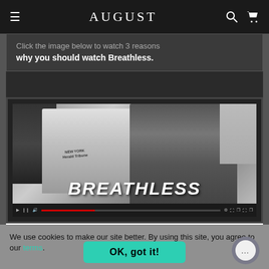AUGUST
history.
Click the image below to watch 3 reasons why you should watch Breathless.
[Figure (screenshot): Black and white still from the film Breathless showing a woman in a New York Herald Tribune shirt and a man in a suit and hat, with the title BREATHLESS overlaid at the bottom, along with a YouTube video player controls bar.]
We use cookies to make our site better. By using this site, you agree to our terms.
OK, got it!